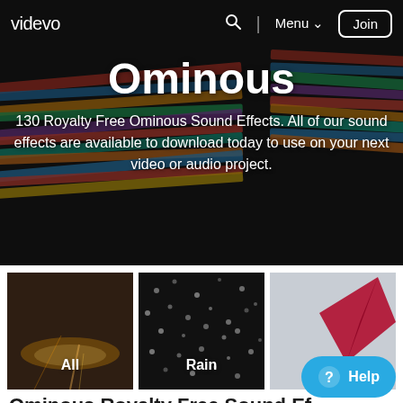videvo  Menu  Join
Ominous
130 Royalty Free Ominous Sound Effects. All of our sound effects are available to download today to use on your next video or audio project.
[Figure (photo): Category thumbnail showing reflective wet street at night, labeled 'All']
[Figure (photo): Category thumbnail showing rain falling, labeled 'Rain']
[Figure (photo): Category thumbnail showing red kite in wind, labeled 'Wind']
Ominous Royalty Free Sound Effects
130 clips